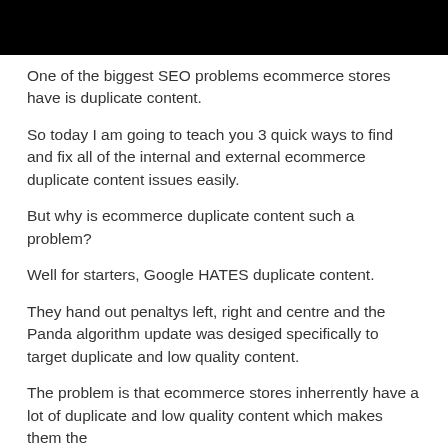[Figure (photo): Black rectangular image bar at the top of the page]
One of the biggest SEO problems ecommerce stores have is duplicate content.
So today I am going to teach you 3 quick ways to find and fix all of the internal and external ecommerce duplicate content issues easily.
But why is ecommerce duplicate content such a problem?
Well for starters, Google HATES duplicate content.
They hand out penaltys left, right and centre and the Panda algorithm update was desiged specifically to target duplicate and low quality content.
The problem is that ecommerce stores inherrently have a lot of duplicate and low quality content which makes them the